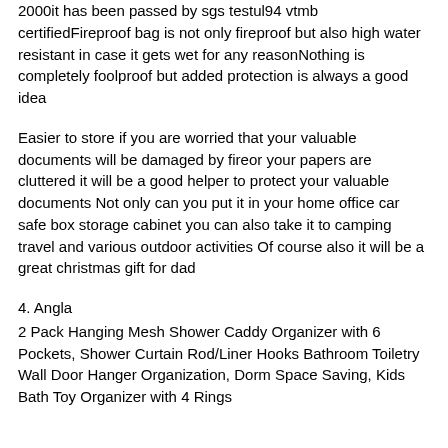2000it has been passed by sgs testul94 vt mb certifiedFireproof bag is not only fireproof but also high water resistant in case it gets wet for any reasonNothing is completely foolproof but added protection is always a good idea
Easier to store if you are worried that your valuable documents will be damaged by fireor your papers are cluttered it will be a good helper to protect your valuable documents Not only can you put it in your home office car safe box storage cabinet you can also take it to camping travel and various outdoor activities Of course also it will be a great christmas gift for dad
4. Angla
2 Pack Hanging Mesh Shower Caddy Organizer with 6 Pockets, Shower Curtain Rod/Liner Hooks Bathroom Toiletry Wall Door Hanger Organization, Dorm Space Saving, Kids Bath Toy Organizer with 4 Rings